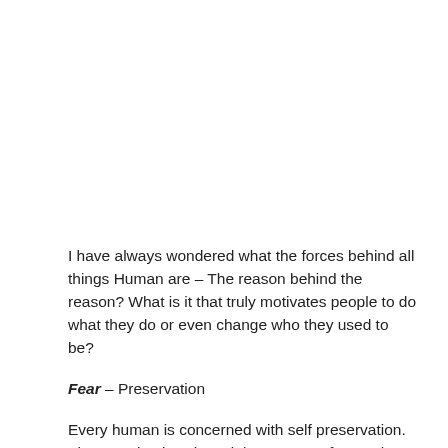I have always wondered what the forces behind all things Human are – The reason behind the reason? What is it that truly motivates people to do what they do or even change who they used to be?
Fear – Preservation
Every human is concerned with self preservation. The question is existential. Fear can often make us swallow the bitter pill when presented with an uncomfortable decision. Countries and billions of